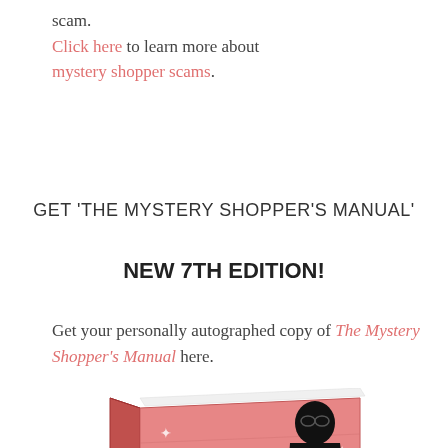scam. Click here to learn more about mystery shopper scams.
GET 'THE MYSTERY SHOPPER'S MANUAL'
NEW 7TH EDITION!
Get your personally autographed copy of The Mystery Shopper's Manual here.
[Figure (photo): Book cover of The Mystery Shopper's Manual, seventh edition, shown as a 3D book with a pink cover and a retro illustration of a woman shopper. A blue circular badge reads: 'Solid information. The step-by-step guide to becoming a successful shopper. - Mystery Shopping Providers Association']